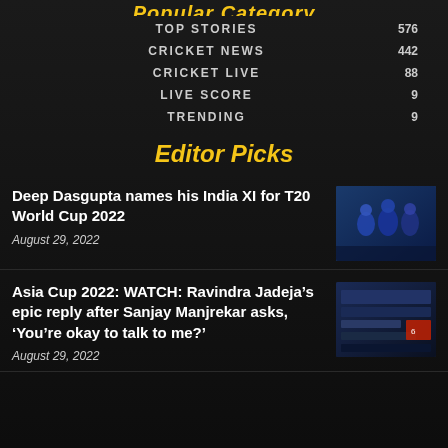Popular Category
| Category | Count |
| --- | --- |
| TOP STORIES | 576 |
| CRICKET NEWS | 442 |
| CRICKET LIVE | 88 |
| LIVE SCORE | 9 |
| TRENDING | 9 |
Editor Picks
Deep Dasgupta names his India XI for T20 World Cup 2022
August 29, 2022
[Figure (photo): Cricket players in blue uniforms sitting together]
Asia Cup 2022: WATCH: Ravindra Jadeja’s epic reply after Sanjay Manjrekar asks, ‘You’re okay to talk to me?’
August 29, 2022
[Figure (photo): Cricket match scorecard or broadcast screen]